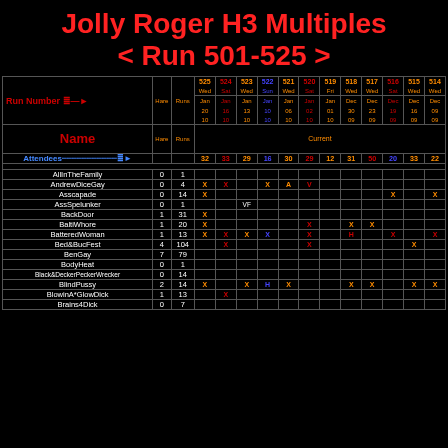Jolly Roger H3 Multiples < Run 501-525 >
| Name | Hare | Runs | 525 Wed | 524 Sat | 523 Wed | 522 Sun | 521 Wed | 520 Sat | 519 Fri | 518 Wed | 517 Wed | 516 Sat | 515 Wed | 514 Wed |
| --- | --- | --- | --- | --- | --- | --- | --- | --- | --- | --- | --- | --- | --- | --- |
| Attendees |  |  | 32 | 33 | 29 | 16 | 30 | 29 | 12 | 31 | 50 | 20 | 33 | 22 |
| AllInTheFamily | 0 | 1 |  |  |  |  |  |  |  |  |  |  |  |  |
| AndrewDiceGay | 0 | 4 | X | X |  | X | A | V |  |  |  |  |  |  |
| Asscapade | 0 | 14 | X |  |  |  |  |  |  |  |  | X |  | X |
| AssSpelunker | 0 | 1 |  |  | VF |  |  |  |  |  |  |  |  |  |
| BackDoor | 1 | 31 | X |  |  |  |  |  |  |  |  |  |  |  |
| BaltiWhore | 1 | 20 | X |  |  |  |  | X |  | X | X |  |  |  |
| BatteredWoman | 1 | 13 | X | X | X | X |  | X |  | H |  | X |  | X |
| Bed&BucFest | 4 | 104 |  | X |  |  |  | X |  |  |  |  | X |  |
| BenGay | 7 | 79 |  |  |  |  |  |  |  |  |  |  |  |  |
| BodyHeat | 0 | 1 |  |  |  |  |  |  |  |  |  |  |  |  |
| Black&DeckerPeckerWrecker | 0 | 14 |  |  |  |  |  |  |  |  |  |  |  |  |
| BlindPussy | 2 | 14 | X |  | X | H | X |  |  | X | X |  | X | X |
| BlowinA*GlowDick | 1 | 13 |  | X |  |  |  |  |  |  |  |  |  |  |
| Brains4Dick | 0 | 7 |  |  |  |  |  |  |  |  |  |  |  |  |